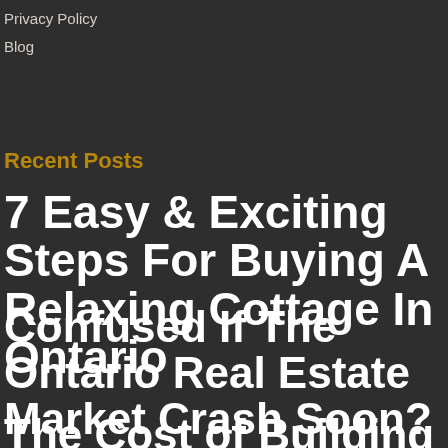Privacy Policy
Blog
Recent Posts
7 Easy & Exciting Steps For Buying A Relaxing Cottage In Ontario
Confused If The Ontario Real Estate Market Crash Soon? (hint: no)
The Cost of Building a